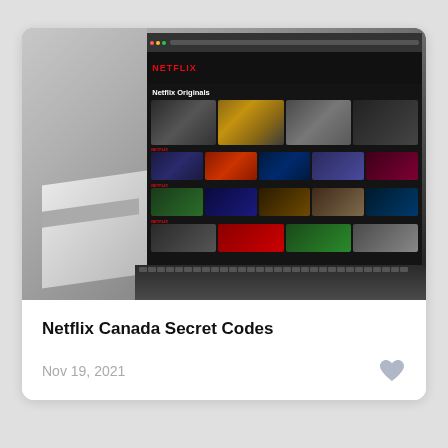[Figure (photo): A laptop computer displaying the Netflix homepage with Netflix Originals section showing various TV show and movie thumbnails including Black Mirror, Ozark, Riverdale, Stranger Things, and others. The laptop is on a light gray surface.]
Netflix Canada Secret Codes
Nov 19, 2021